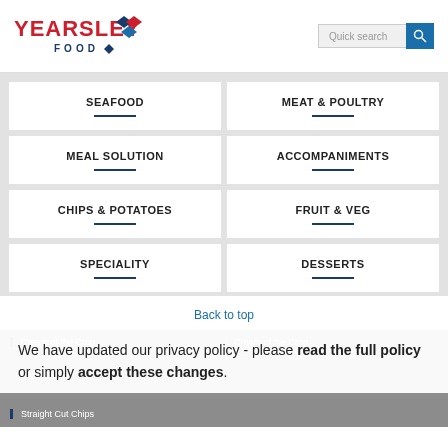[Figure (logo): Yearsley Food logo with red text and blue diamond graphic]
Quick search
SEAFOOD
MEAT & POULTRY
MEAL SOLUTION
ACCOMPANIMENTS
CHIPS & POTATOES
FRUIT & VEG
SPECIALITY
DESSERTS
Back to top
Cream of the Crop
Cream of the Crop
We have updated our privacy policy - please read the full policy or simply accept these changes.
Straight Cut Chips